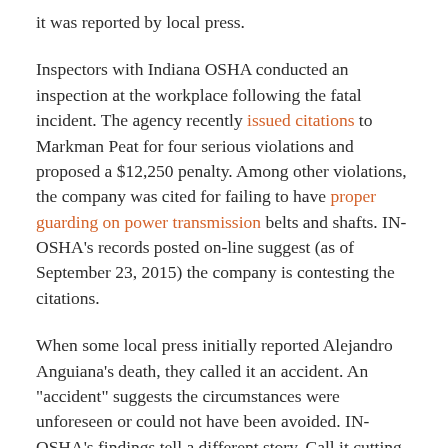it was reported by local press.
Inspectors with Indiana OSHA conducted an inspection at the workplace following the fatal incident. The agency recently issued citations to Markman Peat for four serious violations and proposed a $12,250 penalty. Among other violations, the company was cited for failing to have proper guarding on power transmission belts and shafts. IN-OSHA’s records posted on-line suggest (as of September 23, 2015) the company is contesting the citations.
When some local press initially reported Alejandro Anguiana’s death, they called it an accident. An “accident” suggests the circumstances were unforeseen or could not have been avoided. IN-OSHA’s findings tell a different story. Call it cutting corners, call it poor management, call it breaking the law. Whatever you want to call it, Anguiana’s work-related death could have been prevented, it was no